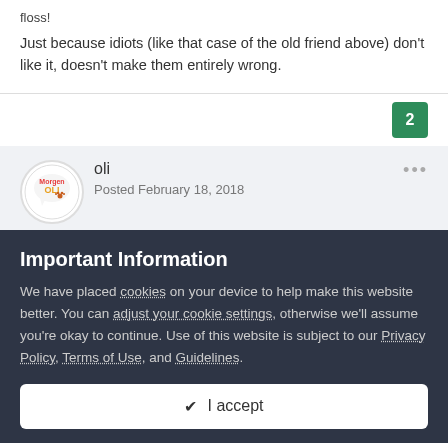floss!
Just because idiots (like that case of the old friend above) don't like it, doesn't make them entirely wrong.
2
oli
Posted February 18, 2018
Important Information
We have placed cookies on your device to help make this website better. You can adjust your cookie settings, otherwise we'll assume you're okay to continue. Use of this website is subject to our Privacy Policy, Terms of Use, and Guidelines.
✔ I accept